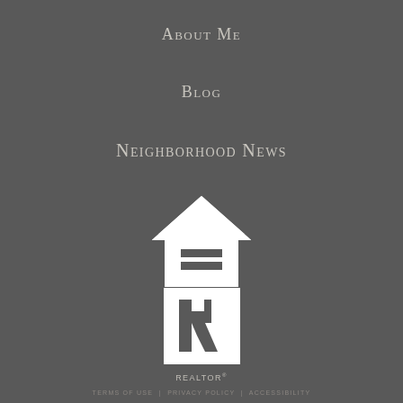About Me
Blog
Neighborhood News
[Figure (logo): Equal Housing Opportunity logo — white house outline with an equals sign inside, with text 'EQUAL HOUSING OPPORTUNITY' below]
[Figure (logo): REALTOR logo — white square with stylized R inside, with text 'REALTOR' and registered trademark symbol below]
TERMS OF USE | PRIVACY POLICY | ACCESSIBILITY